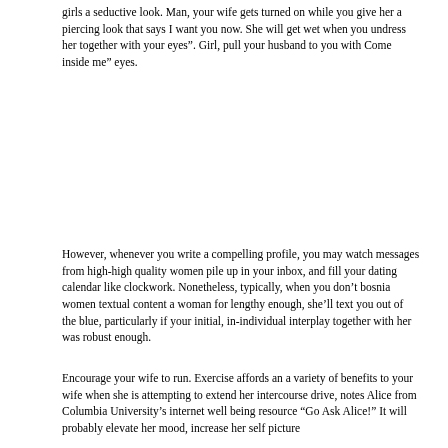girls a seductive look. Man, your wife gets turned on while you give her a piercing look that says I want you now. She will get wet when you undress her together with your eyes". Girl, pull your husband to you with Come inside me" eyes.
However, whenever you write a compelling profile, you may watch messages from high-high quality women pile up in your inbox, and fill your dating calendar like clockwork. Nonetheless, typically, when you don’t bosnia women textual content a woman for lengthy enough, she’ll text you out of the blue, particularly if your initial, in-individual interplay together with her was robust enough.
Encourage your wife to run. Exercise affords an a variety of benefits to your wife when she is attempting to extend her intercourse drive, notes Alice from Columbia University’s internet well being resource “Go Ask Alice!” It will probably elevate her mood, increase her self picture